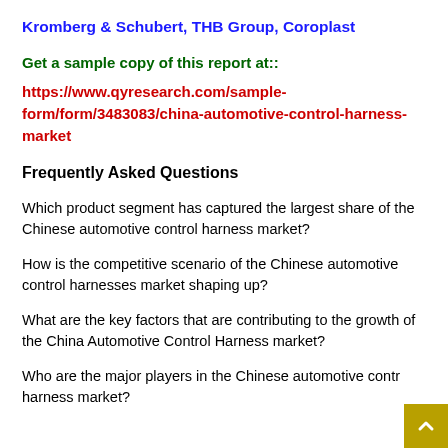Kromberg & Schubert, THB Group, Coroplast
Get a sample copy of this report at::
https://www.qyresearch.com/sample-form/form/3483083/china-automotive-control-harness-market
Frequently Asked Questions
Which product segment has captured the largest share of the Chinese automotive control harness market?
How is the competitive scenario of the Chinese automotive control harnesses market shaping up?
What are the key factors that are contributing to the growth of the China Automotive Control Harness market?
Who are the major players in the Chinese automotive control harness market?